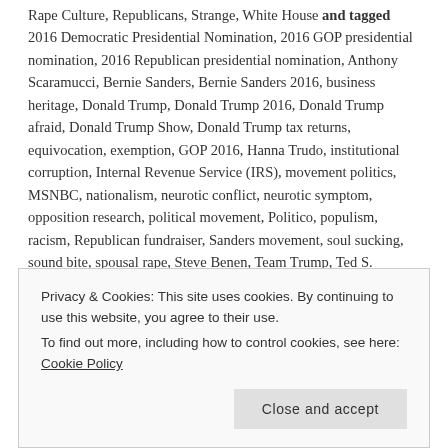Rape Culture, Republicans, Strange, White House and tagged 2016 Democratic Presidential Nomination, 2016 GOP presidential nomination, 2016 Republican presidential nomination, Anthony Scaramucci, Bernie Sanders, Bernie Sanders 2016, business heritage, Donald Trump, Donald Trump 2016, Donald Trump afraid, Donald Trump Show, Donald Trump tax returns, equivocation, exemption, GOP 2016, Hanna Trudo, institutional corruption, Internal Revenue Service (IRS), movement politics, MSNBC, nationalism, neurotic conflict, neurotic symptom, opposition research, political movement, Politico, populism, racism, Republican fundraiser, Sanders movement, soul sucking, sound bite, spousal rape, Steve Benen, Team Trump, Ted S. Warren/AP, traditional misogyny, Trump campaign, Trump movement, Trump national finance committee, Trump surrogate, vampiric press, xenophobia on 2016.05.12. Leave a
Privacy & Cookies: This site uses cookies. By continuing to use this website, you agree to their use.
To find out more, including how to control cookies, see here: Cookie Policy